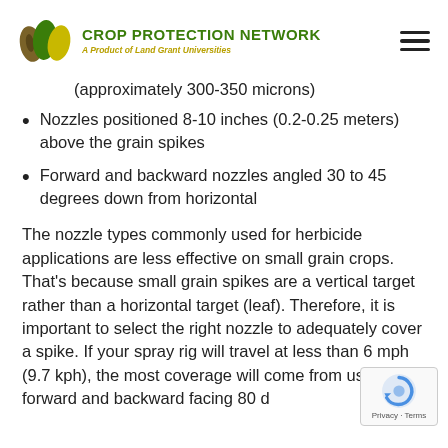CROP PROTECTION NETWORK — A Product of Land Grant Universities
(approximately 300-350 microns)
Nozzles positioned 8-10 inches (0.2-0.25 meters) above the grain spikes
Forward and backward nozzles angled 30 to 45 degrees down from horizontal
The nozzle types commonly used for herbicide applications are less effective on small grain crops. That's because small grain spikes are a vertical target rather than a horizontal target (leaf). Therefore, it is important to select the right nozzle to adequately cover a spike. If your spray rig will travel at less than 6 mph (9.7 kph), the most coverage will come from using forward and backward facing 80 d...